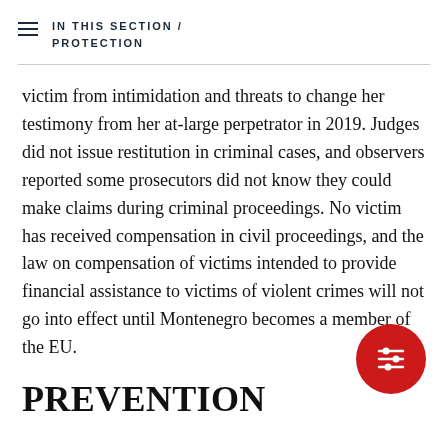IN THIS SECTION / PROTECTION
victim from intimidation and threats to change her testimony from her at-large perpetrator in 2019. Judges did not issue restitution in criminal cases, and observers reported some prosecutors did not know they could make claims during criminal proceedings. No victim has received compensation in civil proceedings, and the law on compensation of victims intended to provide financial assistance to victims of violent crimes will not go into effect until Montenegro becomes a member of the EU.
PREVENTION